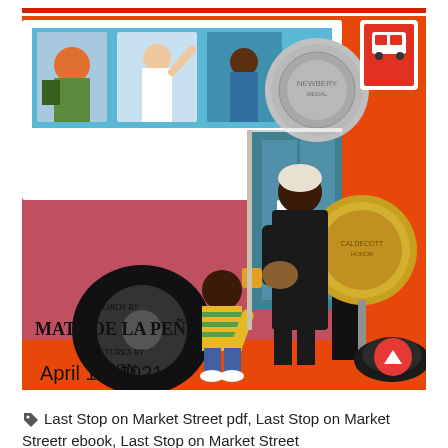[Figure (illustration): Book cover of 'Last Stop on Market Street' by Matt de la Peña, pictures by Christian Robinson. Orange background with illustrated characters: a child in a yellow striped shirt holding hands with an elderly woman in a dark coat, a city bus with passengers visible through windows, a silver Newbery Medal, a gold Caldecott Honor medal, and a bus stop sign. Text on cover reads 'WORDS BY MATT DE LA PEÑA' and 'PICTURES BY [CHRISTIAN ROBINSON]'. A red circular scroll-up button with white arrow is overlaid in the lower right.]
April 18, 2021
Last Stop on Market Street pdf, Last Stop on Market Streetr ebook, Last Stop on Market Street